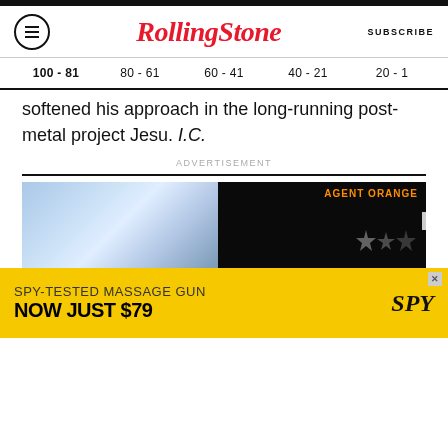Rolling Stone
100 - 81  80 - 61  60 - 41  40 - 21  20 - 1
softened his approach in the long-running post-metal project Jesu. I.C.
ADVERTISEMENT
[Figure (photo): Advertisement image showing Agent Orange text on dark background with sky/clouds on left side, with an X close button]
[Figure (photo): Spy-Tested Massage Gun advertisement banner on yellow background reading 'SPY-TESTED MASSAGE GUN NOW JUST $79' with SPY logo]